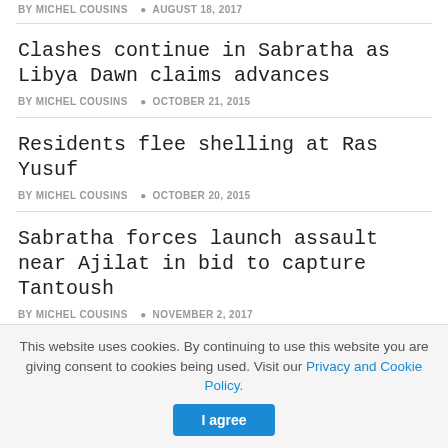BY MICHEL COUSINS  © AUGUST 18, 2017
Clashes continue in Sabratha as Libya Dawn claims advances
BY MICHEL COUSINS  © OCTOBER 21, 2015
Residents flee shelling at Ras Yusuf
BY MICHEL COUSINS  © OCTOBER 20, 2015
Sabratha forces launch assault near Ajilat in bid to capture Tantoush
BY MICHEL COUSINS  © NOVEMBER 2, 2017
This website uses cookies. By continuing to use this website you are giving consent to cookies being used. Visit our Privacy and Cookie Policy.